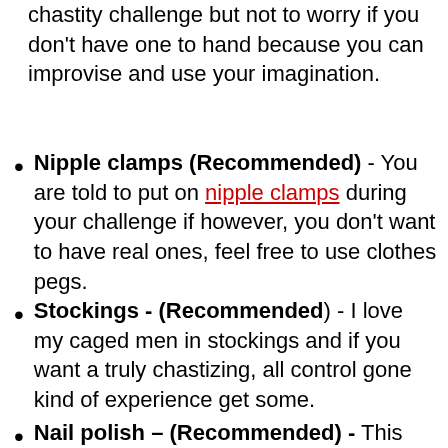chastity challenge but not to worry if you don't have one to hand because you can improvise and use your imagination.
Nipple clamps (Recommended) - You are told to put on nipple clamps during your challenge if however, you don't want to have real ones, feel free to use clothes pegs.
Stockings - (Recommended) - I love my caged men in stockings and if you want a truly chastizing, all control gone kind of experience get some.
Nail polish – (Recommended) - This can be picked up for really cheap